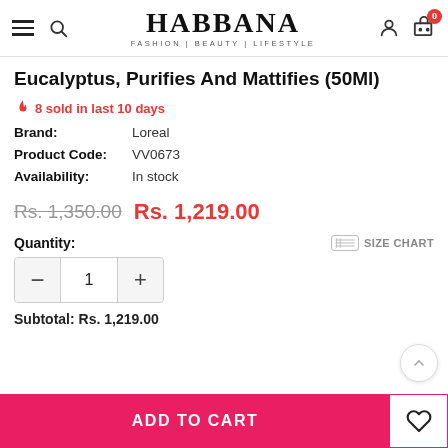HABBANA | FASHION | BEAUTY | LIFESTYLE
Eucalyptus, Purifies And Mattifies (50Ml)
🔥 8 sold in last 10 days
| Field | Value |
| --- | --- |
| Brand: | Loreal |
| Product Code: | VV0673 |
| Availability: | In stock |
Rs. 1,350.00  Rs. 1,219.00
Quantity:   SIZE CHART
- 1 +
Subtotal: Rs. 1,219.00
ADD TO CART